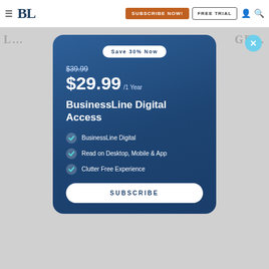BL | SUBSCRIBE NOW! | FREE TRIAL
[Figure (screenshot): BusinessLine Digital Access subscription modal popup with pricing $29.99/1 Year (was $39.99), Save 30% Now badge, features list, and Subscribe button on a dark blue gradient card.]
Save 30% Now
$39.99
$29.99 /1 Year
BusinessLine Digital Access
BusinessLine Digital
Read on Desktop, Mobile & App
Clutter Free Experience
SUBSCRIBE